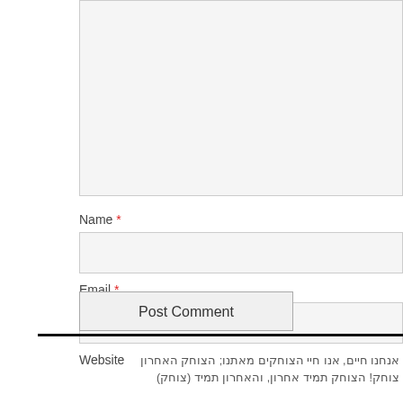[Figure (screenshot): Comment textarea input box (grey background, partial view at top)]
Name *
[Figure (screenshot): Name input field (grey background)]
Email *
[Figure (screenshot): Email input field (grey background)]
Website
[Figure (screenshot): Website input field (grey background)]
Post Comment
אנחנו חיים, אנו חיי הצוחקים מאתנו; הצוחק האחרון צוחק! הצוחק תמיד אחרון, והאחרון תמיד (צוחק)